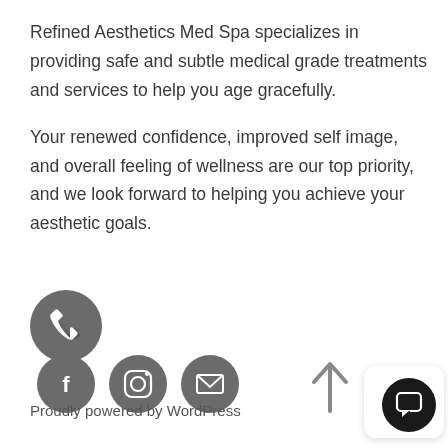Refined Aesthetics Med Spa specializes in providing safe and subtle medical grade treatments and services to help you age gracefully.
Your renewed confidence, improved self image, and overall feeling of wellness are our top priority, and we look forward to helping you achieve your aesthetic goals.
[Figure (infographic): Four circular social/contact icon buttons: phone (larger, gray), Facebook (gray), Instagram (gray), email/mail (gray)]
Proudly powered by WordPress